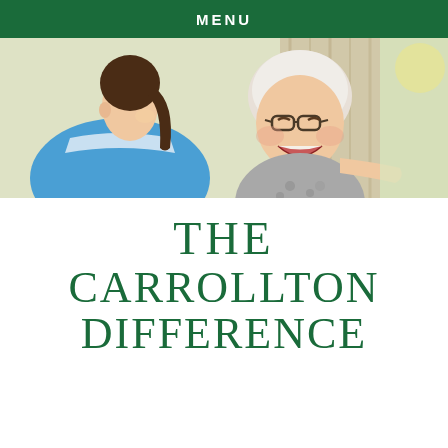MENU
[Figure (photo): A nurse in blue scrubs laughing with an elderly woman wearing glasses who is laughing joyfully, seated outdoors.]
THE CARROLLTON DIFFERENCE